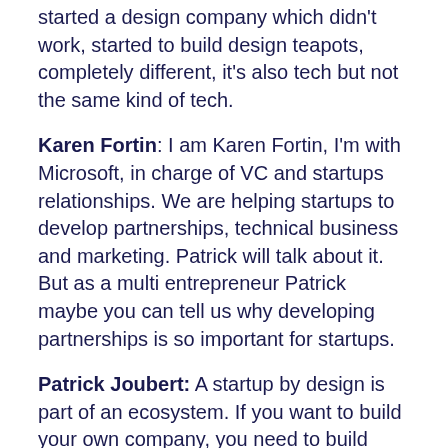started a design company which didn't work, started to build design teapots, completely different, it's also tech but not the same kind of tech.
Karen Fortin: I am Karen Fortin, I'm with Microsoft, in charge of VC and startups relationships. We are helping startups to develop partnerships, technical business and marketing. Patrick will talk about it. But as a multi entrepreneur Patrick maybe you can tell us why developing partnerships is so important for startups.
Patrick Joubert: A startup by design is part of an ecosystem. If you want to build your own company, you need to build different partners around it in order to start it and to make it grow. The first challenge is to hire talents and we know that you can't do anything without talents. Thus the first challenge with your ecosystem is to be identified and to be known by people. The team is